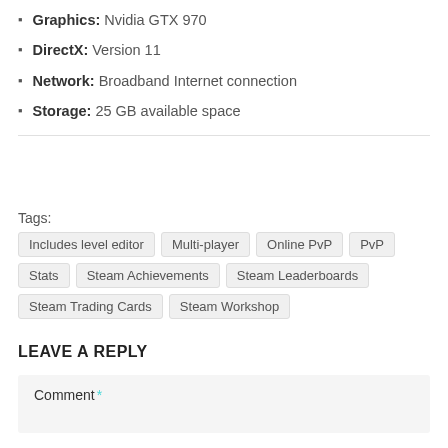Graphics: Nvidia GTX 970
DirectX: Version 11
Network: Broadband Internet connection
Storage: 25 GB available space
Tags: Includes level editor  Multi-player  Online PvP  PvP  Stats  Steam Achievements  Steam Leaderboards  Steam Trading Cards  Steam Workshop
LEAVE A REPLY
Comment *